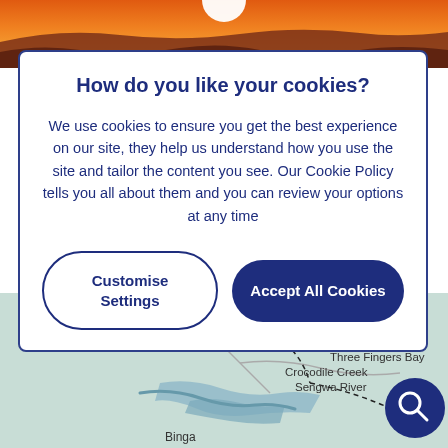[Figure (photo): Sunset photo strip at top showing orange sun setting over silhouetted hills]
How do you like your cookies?
We use cookies to ensure you get the best experience on our site, they help us understand how you use the site and tailor the content you see. Our Cookie Policy tells you all about them and you can review your options at any time
Customise Settings
Accept All Cookies
[Figure (map): Map showing Mana Pools National Park area with locations: Kariba Town, Three Fingers Bay, Crocodile Creek, Sengwa River, Binga. Dashed route lines visible. Search icon in bottom right corner.]